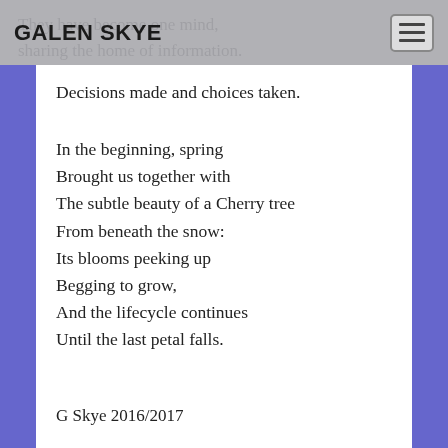GALEN SKYE
Decisions made and choices taken.

In the beginning, spring
Brought us together with
The subtle beauty of a Cherry tree
From beneath the snow:
Its blooms peeking up
Begging to grow,
And the lifecycle continues
Until the last petal falls.
G Skye 2016/2017